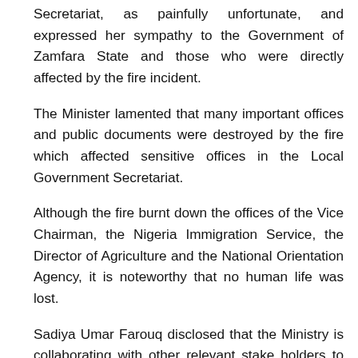Secretariat, as painfully unfortunate, and expressed her sympathy to the Government of Zamfara State and those who were directly affected by the fire incident.
The Minister lamented that many important offices and public documents were destroyed by the fire which affected sensitive offices in the Local Government Secretariat.
Although the fire burnt down the offices of the Vice Chairman, the Nigeria Immigration Service, the Director of Agriculture and the National Orientation Agency, it is noteworthy that no human life was lost.
Sadiya Umar Farouq disclosed that the Ministry is collaborating with other relevant stake holders to organize a public fire safety awareness campaign in offices, schools and markets among other public places with the view to